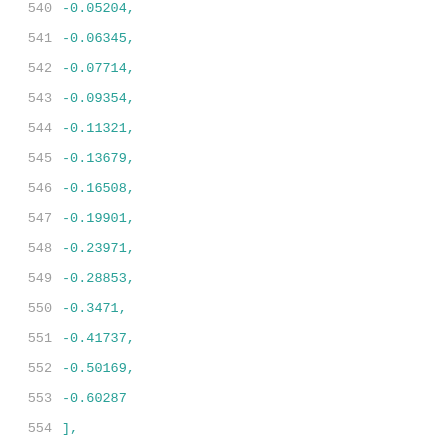540    -0.05204,
541    -0.06345,
542    -0.07714,
543    -0.09354,
544    -0.11321,
545    -0.13679,
546    -0.16508,
547    -0.19901,
548    -0.23971,
549    -0.28853,
550    -0.3471,
551    -0.41737,
552    -0.50169,
553    -0.60287
554    ],
555    [
556        0.00297,
557        -0.00655,
558        -0.00867,
559        -0.01124,
560        -0.01435,